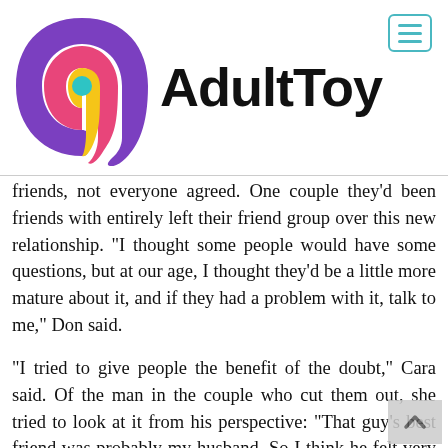[Figure (logo): AdultToy website logo with colorful swirl icon (purple, pink, yellow, teal) and bold black 'AdultToy' text]
friends, not everyone agreed. One couple they'd been friends with entirely left their friend group over this new relationship. "I thought some people would have some questions, but at our age, I thought they'd be a little more mature about it, and if they had a problem with it, talk to me," Don said.
"I tried to give people the benefit of the doubt," Cara said. Of the man in the couple who cut them out, she tried to look at it from his perspective: "That guy's best friend was probably my husband. So I think he felt very close. And maybe it wasn't coming from a place from being mean, but I just tried to think, 'Well, why would he act like this?' And I thought, 'Well, maybe he